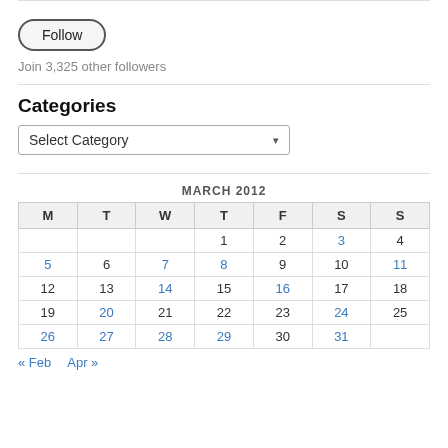Follow
Join 3,325 other followers
Categories
Select Category
| M | T | W | T | F | S | S |
| --- | --- | --- | --- | --- | --- | --- |
|  |  |  | 1 | 2 | 3 | 4 |
| 5 | 6 | 7 | 8 | 9 | 10 | 11 |
| 12 | 13 | 14 | 15 | 16 | 17 | 18 |
| 19 | 20 | 21 | 22 | 23 | 24 | 25 |
| 26 | 27 | 28 | 29 | 30 | 31 |  |
« Feb   Apr »